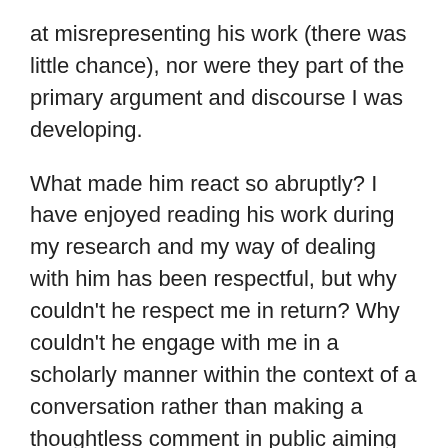at misrepresenting his work (there was little chance), nor were they part of the primary argument and discourse I was developing.
What made him react so abruptly? I have enjoyed reading his work during my research and my way of dealing with him has been respectful, but why couldn't he respect me in return? Why couldn't he engage with me in a scholarly manner within the context of a conversation rather than making a thoughtless comment in public aiming to hurt my reputation?
Consider the social positioning. This scholar is a well-established white male senior academic, while I am a young and relatively unknown researcher with a non-white, non-European background, entering an arena of sound studies which is yet closely guarded by the